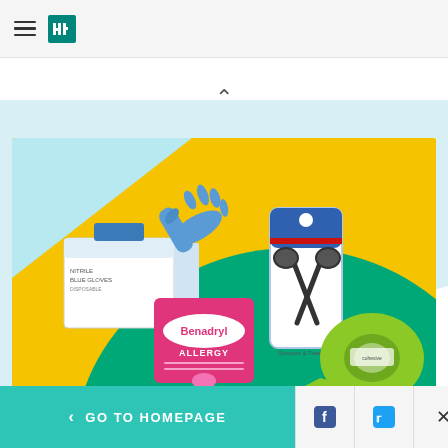HuffPost navigation header with hamburger menu and logo
[Figure (photo): Product photo scene on yellow and green background showing blue nitrile disposable gloves box with hand wearing a glove, Benadryl Allergy medicine package, scissors in packaging, and green self-adhesive bandage roll]
SHOPPING
We Asked Nurses What The...
< GO TO HOMEPAGE | Facebook share | Twitter share | Close